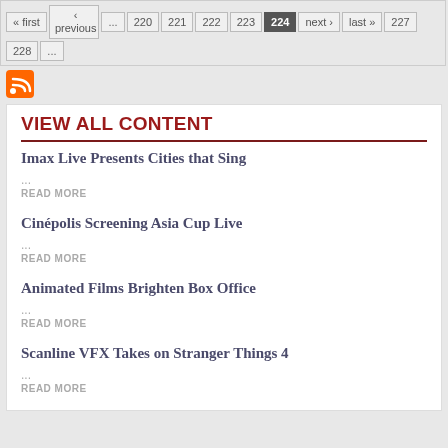« first  ‹ previous  ...  220  221  222  223  224  next ›  last »  227  228  ...
[Figure (logo): RSS feed orange icon]
VIEW ALL CONTENT
Imax Live Presents Cities that Sing
...
READ MORE
Cinépolis Screening Asia Cup Live
...
READ MORE
Animated Films Brighten Box Office
...
READ MORE
Scanline VFX Takes on Stranger Things 4
...
READ MORE